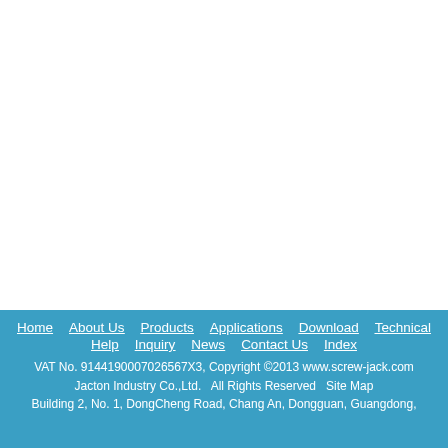Home  About Us  Products  Applications  Download  Technical Help  Inquiry  News  Contact Us  Index
VAT No. 9144190007026567X3, Copyright ©2013 www.screw-jack.com Jacton Industry Co.,Ltd.  All Rights Reserved  Site Map
Building 2, No. 1, DongCheng Road, Chang An, Dongguan, Guangdong,